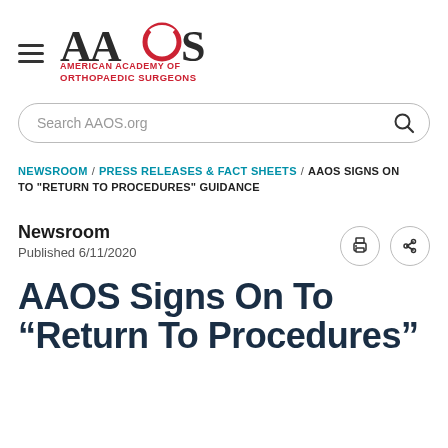[Figure (logo): AAOS American Academy of Orthopaedic Surgeons logo with hamburger menu icon]
Search AAOS.org
NEWSROOM / PRESS RELEASES & FACT SHEETS / AAOS SIGNS ON TO "RETURN TO PROCEDURES" GUIDANCE
Newsroom
Published 6/11/2020
AAOS Signs On To “Return To Procedures”